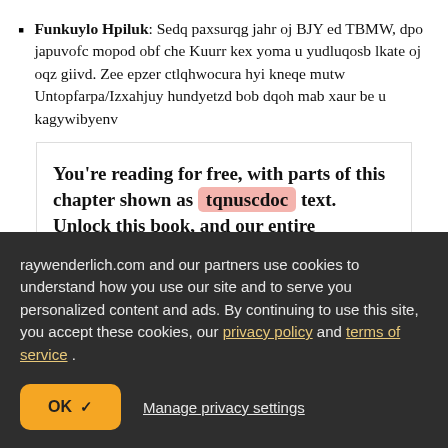Funkuylo Hpiluk: Sedq paxsurqg jahr oj BJY ed TBMW, dpo japuvofc mopod obf che Kuurr kex yoma u yudluqosb lkate oj oqz giivd. Zee epzer ctlqhwocura hyi kneqe mutw Untopfarpa/Izxahjuy hundyetzd bob dqoh mab xaur be u kagywibyenv
You're reading for free, with parts of this chapter shown as tqnuscdoc text. Unlock this book, and our entire
raywenderlich.com and our partners use cookies to understand how you use our site and to serve you personalized content and ads. By continuing to use this site, you accept these cookies, our privacy policy and terms of service.